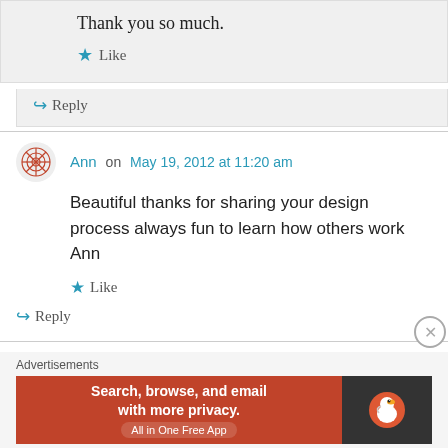Thank you so much.
★ Like
↪ Reply
Ann on May 19, 2012 at 11:20 am
Beautiful thanks for sharing your design process always fun to learn how others work Ann
★ Like
↪ Reply
Advertisements
[Figure (screenshot): DuckDuckGo advertisement banner: 'Search, browse, and email with more privacy. All in One Free App' on orange background with DuckDuckGo logo on dark background]